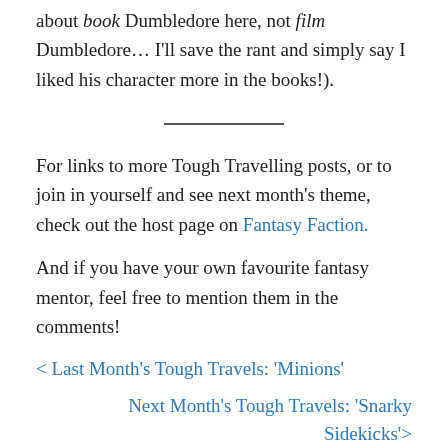about book Dumbledore here, not film Dumbledore… I'll save the rant and simply say I liked his character more in the books!).
For links to more Tough Travelling posts, or to join in yourself and see next month's theme, check out the host page on Fantasy Faction.
And if you have your own favourite fantasy mentor, feel free to mention them in the comments!
< Last Month's Tough Travels: 'Minions'
Next Month's Tough Travels: 'Snarky Sidekicks'>
Share this: